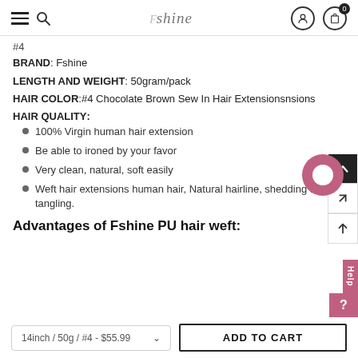shine (logo) — navigation header with hamburger, search, user, and cart icons
#4
BRAND: Fshine
LENGTH AND WEIGHT: 50gram/pack
HAIR COLOR:#4 Chocolate Brown Sew In Hair Extensionsnsions
HAIR QUALITY:
100% Virgin human hair extension
Be able to ironed by your favor
Very clean, natural, soft easily
Weft hair extensions human hair, Natural hairline, shedding free, no tangling.
Advantages of Fshine PU hair weft:
14inch / 50g / #4 - $55.99
ADD TO CART